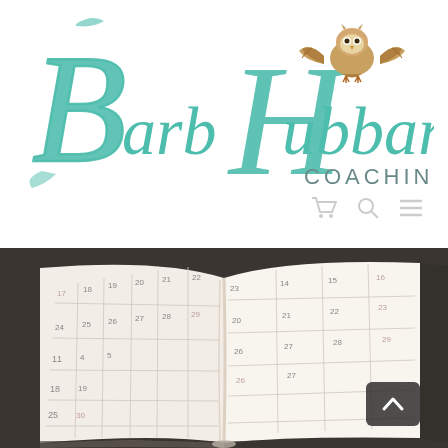[Figure (logo): Barb Hubbard Coaching logo — decorative teal/turquoise script lettering 'Barb Hubbard' with a flying owl illustration and 'COACHING' in small caps below]
[Figure (photo): Close-up photograph of an open monthly calendar planner/diary with a grid of dates, shot from a low angle on a dark surface]